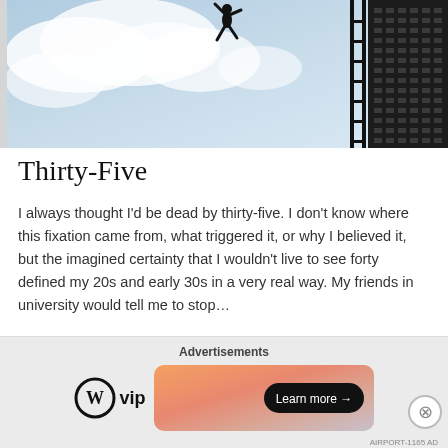[Figure (photo): Silhouette of a person jumping in the air against a partly cloudy sky, with a dark building structure visible on the right side]
Thirty-Five
I always thought I'd be dead by thirty-five. I don't know where this fixation came from, what triggered it, or why I believed it, but the imagined certainty that I wouldn't live to see forty defined my 20s and early 30s in a very real way. My friends in university would tell me to stop…
Keep reading
December 29, 2021
Advertisements
[Figure (logo): WordPress VIP logo (W circle icon followed by 'vip' text) and an advertisement banner with gradient background and 'Learn more →' button]